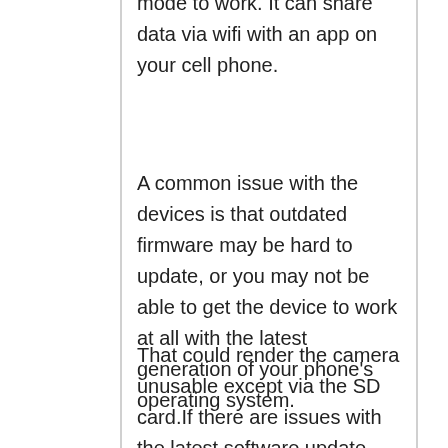mode to work. It can share data via wifi with an app on your cell phone.
A common issue with the devices is that outdated firmware may be hard to update, or you may not be able to get the device to work at all with the latest generation of your phone’s operating system.
That could render the camera unusable except via the SD card.If there are issues with the latest software update, you may need to power-cycle it every time to properly record.